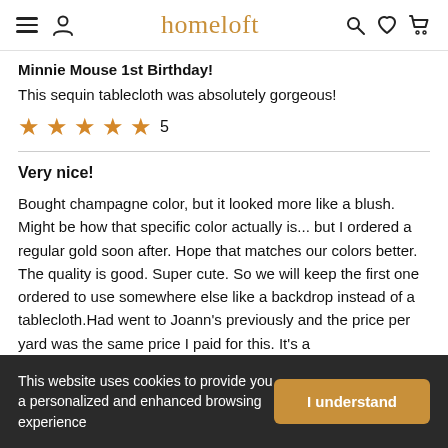homeloft
Minnie Mouse 1st Birthday!
This sequin tablecloth was absolutely gorgeous!
★★★★★ 5
Very nice!
Bought champagne color, but it looked more like a blush. Might be how that specific color actually is... but I ordered a regular gold soon after. Hope that matches our colors better. The quality is good. Super cute. So we will keep the first one ordered to use somewhere else like a backdrop instead of a tablecloth.Had went to Joann's previously and the price per yard was the same price I paid for this. It's a
This website uses cookies to provide you a personalized and enhanced browsing experience